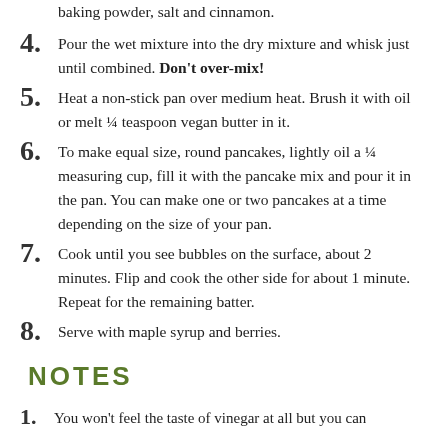baking powder, salt and cinnamon.
4. Pour the wet mixture into the dry mixture and whisk just until combined. Don't over-mix!
5. Heat a non-stick pan over medium heat. Brush it with oil or melt ¼ teaspoon vegan butter in it.
6. To make equal size, round pancakes, lightly oil a ¼ measuring cup, fill it with the pancake mix and pour it in the pan. You can make one or two pancakes at a time depending on the size of your pan.
7. Cook until you see bubbles on the surface, about 2 minutes. Flip and cook the other side for about 1 minute. Repeat for the remaining batter.
8. Serve with maple syrup and berries.
NOTES
1. You won't feel the taste of vinegar at all but you can